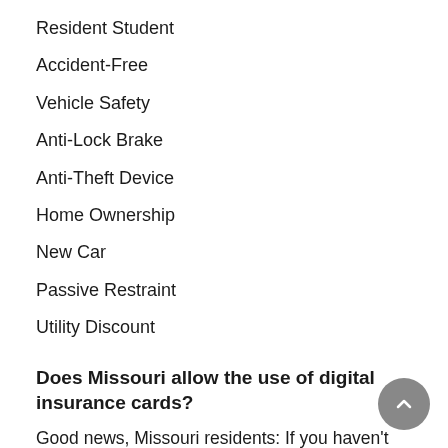Resident Student
Accident-Free
Vehicle Safety
Anti-Lock Brake
Anti-Theft Device
Home Ownership
New Car
Passive Restraint
Utility Discount
Does Missouri allow the use of digital insurance cards?
Good news, Missouri residents: If you haven't heard, yes, since mid-2013, you've been permitted to show digital proof of coverage on your smartphone or another mobile device. Obtain a digital insurance card from your carrier